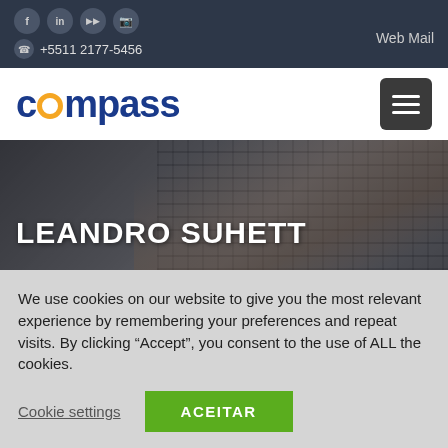f  in  [yt]  [ig]  +5511 2177-5456  Web Mail
[Figure (logo): Compass logo - blue text with orange circular arc replacing the 'o']
LEANDRO SUHETT
We use cookies on our website to give you the most relevant experience by remembering your preferences and repeat visits. By clicking "Accept", you consent to the use of ALL the cookies.
Cookie settings  ACEITAR